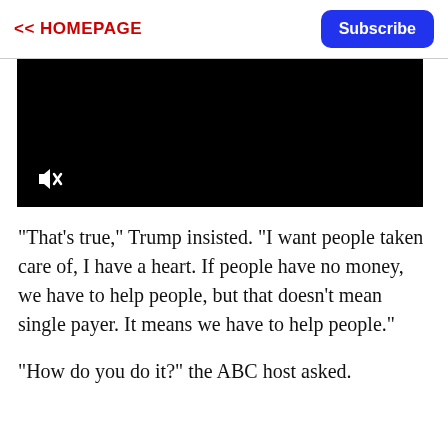<< HOMEPAGE | Subscribe
[Figure (screenshot): Black video player with muted speaker icon in bottom-left corner]
"That's true," Trump insisted. "I want people taken care of, I have a heart. If people have no money, we have to help people, but that doesn't mean single payer. It means we have to help people."
"How do you do it?" the ABC host asked.